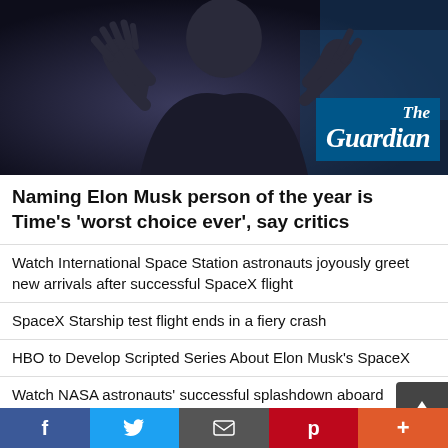[Figure (photo): Photo of Elon Musk gesturing with hands raised, wearing a dark jacket, with The Guardian logo overlay in the bottom right corner on a dark blue background.]
Naming Elon Musk person of the year is Time's 'worst choice ever', say critics
Watch International Space Station astronauts joyously greet new arrivals after successful SpaceX flight
SpaceX Starship test flight ends in a fiery crash
HBO to Develop Scripted Series About Elon Musk's SpaceX
Watch NASA astronauts' successful splashdown aboard SpaceX capsule
Starlink: Elon Musk's latest scheme to offer Internet via satellites
Kanye West Trudges On With Presidency Bid, Despite Rumours